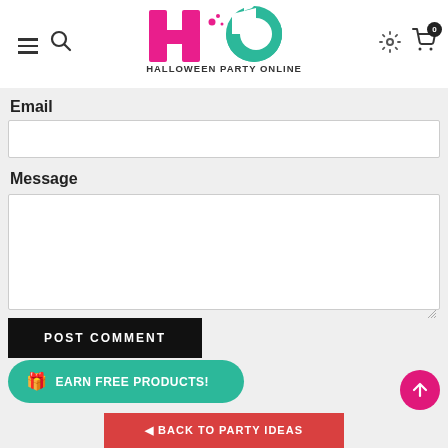[Figure (logo): Halloween Party Online logo with pink H and teal O letters, text HALLOWEEN PARTY ONLINE below]
Email
Message
POST COMMENT
EARN FREE PRODUCTS!
BACK TO PARTY IDEAS